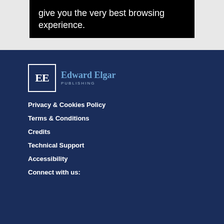give you the very best browsing experience.
[Figure (logo): Edward Elgar Publishing logo with EE monogram in a bordered box and blue text]
Privacy & Cookies Policy
Terms & Conditions
Credits
Technical Support
Accessibility
Connect with us: